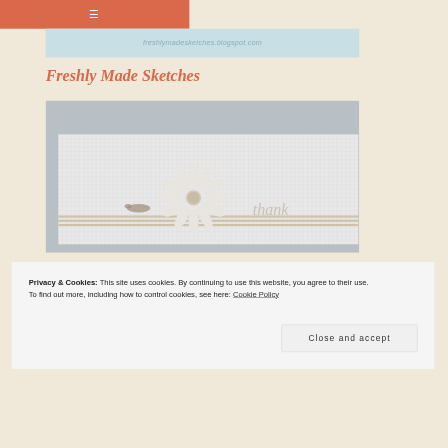≡
[Figure (screenshot): Blog header image showing freshlymadesketches.blogspot.com URL in a light blue banner]
Freshly Made Sketches
[Figure (photo): Photo of a handmade thank you card with a white daisy flower embellishment and the word 'thank' in script on white textured cardstock with striped ribbon]
Privacy & Cookies: This site uses cookies. By continuing to use this website, you agree to their use.
To find out more, including how to control cookies, see here: Cookie Policy
Close and accept